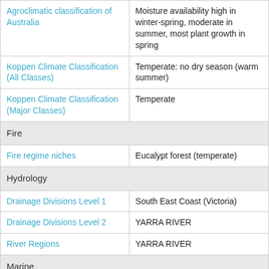| Classification | Value |
| --- | --- |
| Agroclimatic classification of Australia | Moisture availability high in winter-spring, moderate in summer, most plant growth in spring |
| Koppen Climate Classification (All Classes) | Temperate: no dry season (warm summer) |
| Koppen Climate Classification (Major Classes) | Temperate |
| Fire |  |
| Fire regime niches | Eucalypt forest (temperate) |
| Hydrology |  |
| Drainage Divisions Level 1 | South East Coast (Victoria) |
| Drainage Divisions Level 2 | YARRA RIVER |
| River Regions | YARRA RIVER |
| Marine |  |
| Marine Ecoregions of the World | Bassian |
| States including coastal waters | Victoria (including Coastal |